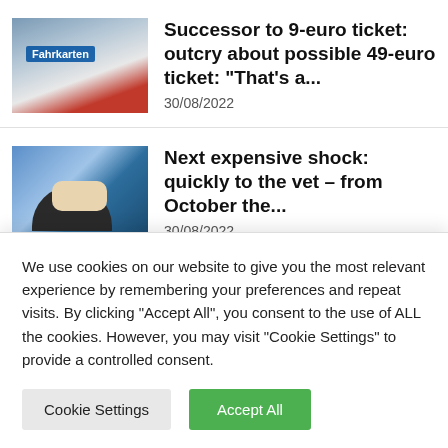[Figure (photo): Photo of a train station ticket machine with 'Fahrkarten' sign]
Successor to 9-euro ticket: outcry about possible 49-euro ticket: "That's a...
30/08/2022
[Figure (photo): Photo of a veterinarian examining a cat]
Next expensive shock: quickly to the vet – from October the...
30/08/2022
[Figure (photo): Photo of grocery/food items in a basket]
Federal Statistical Office reports:
We use cookies on our website to give you the most relevant experience by remembering your preferences and repeat visits. By clicking "Accept All", you consent to the use of ALL the cookies. However, you may visit "Cookie Settings" to provide a controlled consent.